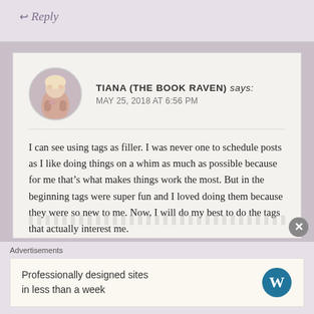Reply
TIANA (THE BOOK RAVEN) says: MAY 25, 2018 AT 6:56 PM
I can see using tags as filler. I was never one to schedule posts as I like doing things on a whim as much as possible because for me that’s what makes things work the most. But in the beginning tags were super fun and I loved doing them because they were so new to me. Now, I will do my best to do the tags that actually interest me.
Advertisements
Professionally designed sites in less than a week